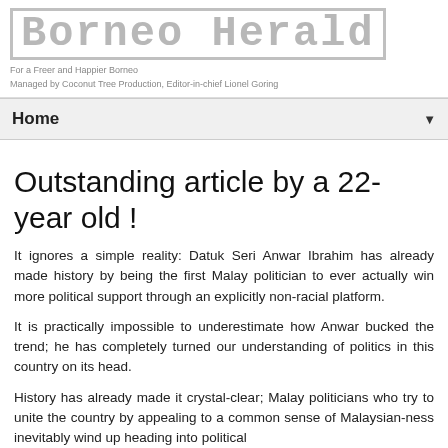Borneo Herald
For a Freer and Happier Borneo
Managed by Coconut Tree Production, Editor-in-chief Lionel Goring
Home
Outstanding article by a 22-year old !
It ignores a simple reality: Datuk Seri Anwar Ibrahim has already made history by being the first Malay politician to ever actually win more political support through an explicitly non-racial platform.
It is practically impossible to underestimate how Anwar bucked the trend; he has completely turned our understanding of politics in this country on its head.
History has already made it crystal-clear; Malay politicians who try to unite the country by appealing to a common sense of Malaysian-ness inevitably wind up heading into political